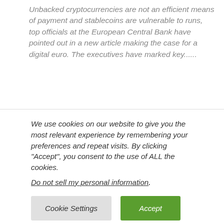Unbacked cryptocurrencies are not an efficient means of payment and stablecoins are vulnerable to runs, top officials at the European Central Bank have pointed out in a new article making the case for a digital euro. The executives have marked key......
[Continue reading...]
CBDC Ensures Nigeria Remains Competitive in Increasingly Digital
We use cookies on our website to give you the most relevant experience by remembering your preferences and repeat visits. By clicking “Accept”, you consent to the use of ALL the cookies.
Do not sell my personal information.